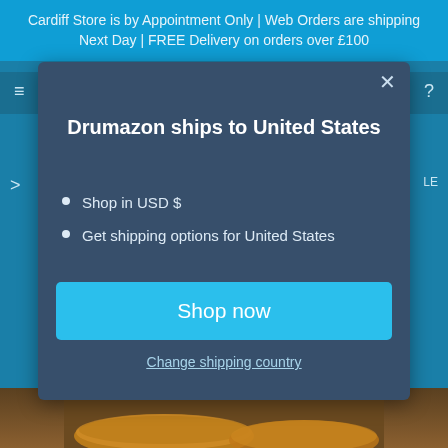Cardiff Store is by Appointment Only | Web Orders are shipping Next Day | FREE Delivery on orders over £100
Drumazon ships to United States
Shop in USD $
Get shipping options for United States
Shop now
Change shipping country
[Figure (photo): Bottom portion of a website showing cymbals on a wooden surface]